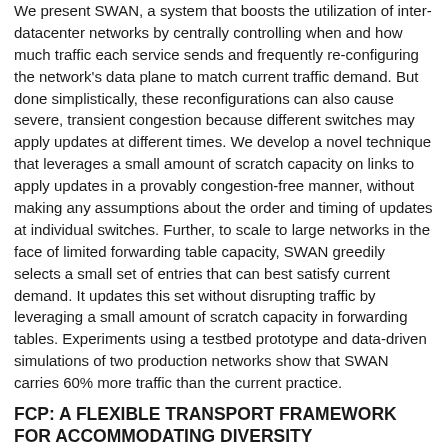We present SWAN, a system that boosts the utilization of inter-datacenter networks by centrally controlling when and how much traffic each service sends and frequently re-configuring the network's data plane to match current traffic demand. But done simplistically, these reconfigurations can also cause severe, transient congestion because different switches may apply updates at different times. We develop a novel technique that leverages a small amount of scratch capacity on links to apply updates in a provably congestion-free manner, without making any assumptions about the order and timing of updates at individual switches. Further, to scale to large networks in the face of limited forwarding table capacity, SWAN greedily selects a small set of entries that can best satisfy current demand. It updates this set without disrupting traffic by leveraging a small amount of scratch capacity in forwarding tables. Experiments using a testbed prototype and data-driven simulations of two production networks show that SWAN carries 60% more traffic than the current practice.
FCP: A FLEXIBLE TRANSPORT FRAMEWORK FOR ACCOMMODATING DIVERSITY
Transport protocols must accommodate diverse application and network requirements. As a result, TCP has evolved over time with new congestion control algorithms such as support for generalized AIMD, background flows, and multipath. On the